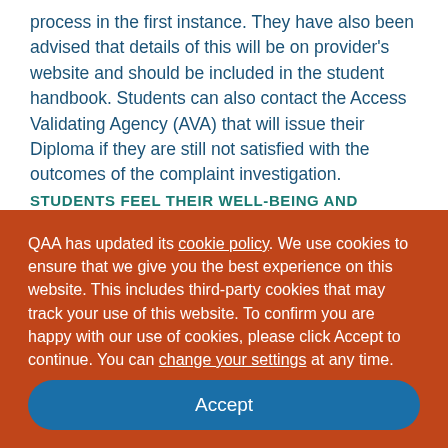process in the first instance. They have also been advised that details of this will be on provider's website and should be included in the student handbook. Students can also contact the Access Validating Agency (AVA) that will issue their Diploma if they are still not satisfied with the outcomes of the complaint investigation.
STUDENTS FEEL THEIR WELL-BEING AND
QAA has updated its cookie policy. We use cookies to ensure that we give you the best experience on this website. This includes third-party cookies that may track your use of this website. To confirm you are happy with our use of cookies, please click Accept to continue. You can change your settings at any time.
Accept